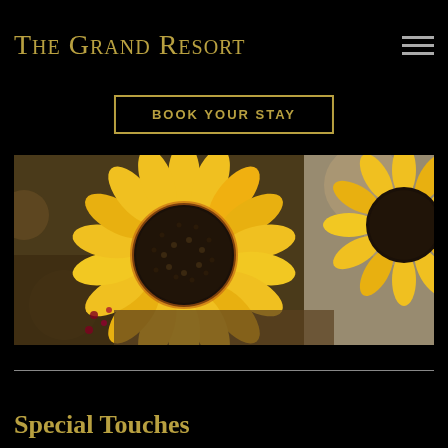The Grand Resort
BOOK YOUR STAY
[Figure (photo): Close-up photograph of yellow sunflowers with dark centers, arranged in a vase with decorative berries, against a blurred background]
Special Touches